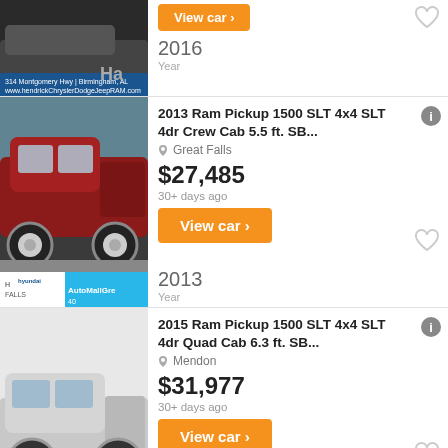[Figure (photo): Partial view of a dark vehicle, top of page, with dealer banner showing address]
View car ›
2016
Year
[Figure (photo): 2013 Ram Pickup 1500 SLT red truck parked in lot, with AutoMallGreat Falls dealer banner]
2013 Ram Pickup 1500 SLT 4x4 SLT 4dr Crew Cab 5.5 ft. SB...
Great Falls
$27,485
30+ days ago
View car ›
2013
Year
[Figure (photo): 2015 Ram Pickup 1500 SLT silver/grey truck side profile view]
2015 Ram Pickup 1500 SLT 4x4 SLT 4dr Quad Cab 6.3 ft. SB...
Mendon
$31,977
30+ days ago
View car ›
2015
Year
[Figure (photo): Partial bottom image, blue background, beginning of next listing]